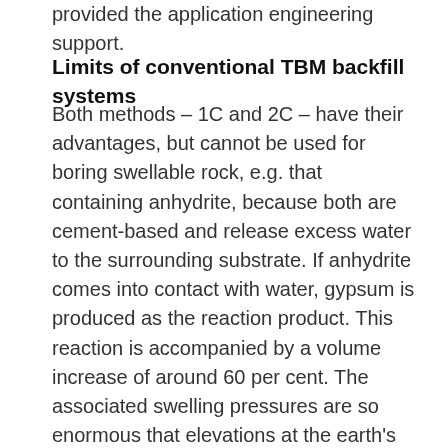provided the application engineering support.
Limits of conventional TBM backfill systems
Both methods – 1C and 2C – have their advantages, but cannot be used for boring swellable rock, e.g. that containing anhydrite, because both are cement-based and release excess water to the surrounding substrate. If anhydrite comes into contact with water, gypsum is produced as the reaction product. This reaction is accompanied by a volume increase of around 60 per cent. The associated swelling pressures are so enormous that elevations at the earth's surface can occur and underground structures can be permanently damaged or even destroyed. When working in strata containing anhydrite, therefore, it is essential to prevent the